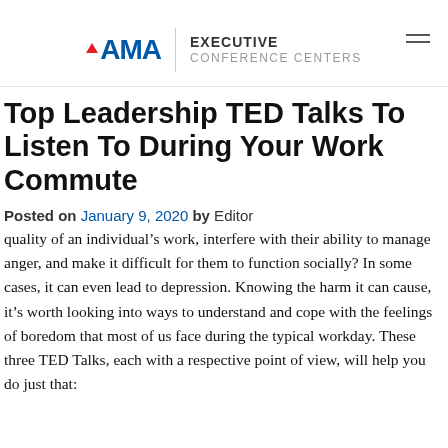AMA EXECUTIVE CONFERENCE CENTERS
Top Leadership TED Talks To Listen To During Your Work Commute
Posted on January 9, 2020 by Editor
quality of an individual’s work, interfere with their ability to manage anger, and make it difficult for them to function socially? In some cases, it can even lead to depression. Knowing the harm it can cause, it’s worth looking into ways to understand and cope with the feelings of boredom that most of us face during the typical workday. These three TED Talks, each with a respective point of view, will help you do just that: